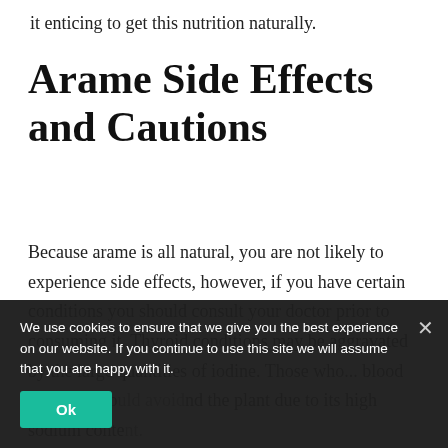it enticing to get this nutrition naturally.
Arame Side Effects and Cautions
Because arame is all natural, you are not likely to experience side effects, however, if you have certain conditions you should consult your doctor prior to consuming it. Thyroid conditions may be aggravated by the large quantities of iodine. Those who... blood pressure sho... nd the plant due to its high sodium conte...
We use cookies to ensure that we give you the best experience on our website. If you continue to use this site we will assume that you are happy with it.